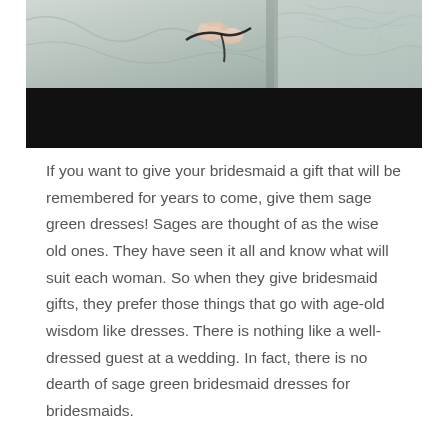[Figure (photo): Photo of bridesmaids in sage green dresses, upper portion showing hands adjusting dress details, lower portion blacked out]
If you want to give your bridesmaid a gift that will be remembered for years to come, give them sage green dresses! Sages are thought of as the wise old ones. They have seen it all and know what will suit each woman. So when they give bridesmaid gifts, they prefer those things that go with age-old wisdom like dresses. There is nothing like a well-dressed guest at a wedding. In fact, there is no dearth of sage green bridesmaid dresses for bridesmaids.